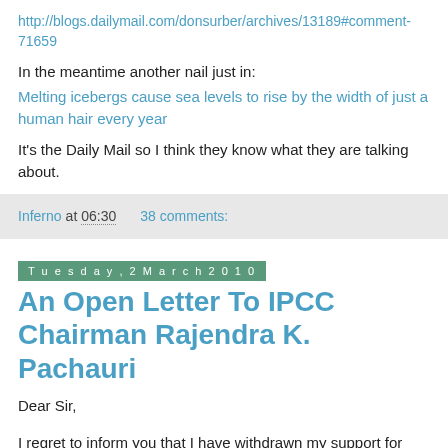http://blogs.dailymail.com/donsurber/archives/13189#comment-71659
In the meantime another nail just in:
Melting icebergs cause sea levels to rise by the width of just a human hair every year
It's the Daily Mail so I think they know what they are talking about.
Inferno at 06:30    38 comments:
Tuesday, 2 March 2010
An Open Letter To IPCC Chairman Rajendra K. Pachauri
Dear Sir,
I regret to inform you that I have withdrawn my support for your continuing role as chairman of the IPCC. Please resign